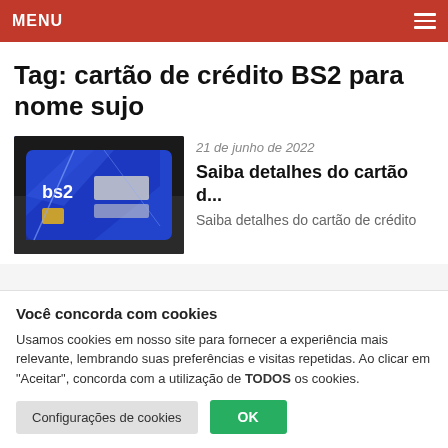MENU
Tag: cartão de crédito BS2 para nome sujo
[Figure (photo): Photo of a person holding a blue BS2 credit card]
21 de junho de 2022
Saiba detalhes do cartão d...
Saiba detalhes do cartão de crédito
Você concorda com cookies
Usamos cookies em nosso site para fornecer a experiência mais relevante, lembrando suas preferências e visitas repetidas. Ao clicar em "Aceitar", concorda com a utilização de TODOS os cookies.
Configurações de cookies
OK